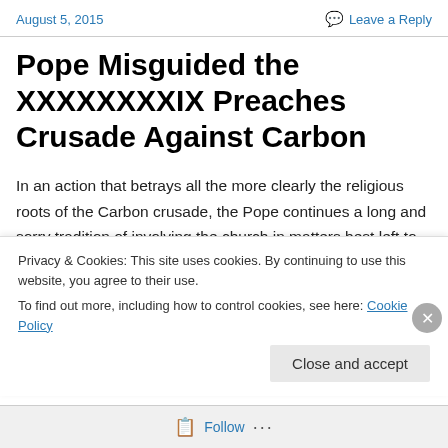August 5, 2015   Leave a Reply
Pope Misguided the XXXXXXXXIX Preaches Crusade Against Carbon
In an action that betrays all the more clearly the religious roots of the Carbon crusade, the Pope continues a long and sorry tradition of involving the church in matters best left to science and individual conscience. From Galileo a
Privacy & Cookies: This site uses cookies. By continuing to use this website, you agree to their use.
To find out more, including how to control cookies, see here: Cookie Policy
Close and accept
Follow ...